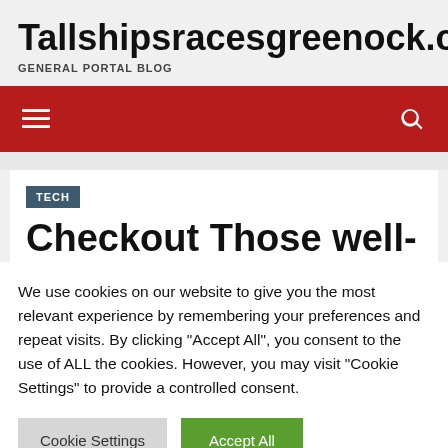Tallshipsracesgreenock.com
GENERAL PORTAL BLOG
[Figure (other): Dark red navigation bar with hamburger menu icon on left and search icon on right]
TECH
Checkout Those well-
We use cookies on our website to give you the most relevant experience by remembering your preferences and repeat visits. By clicking "Accept All", you consent to the use of ALL the cookies. However, you may visit "Cookie Settings" to provide a controlled consent.
Cookie Settings | Accept All